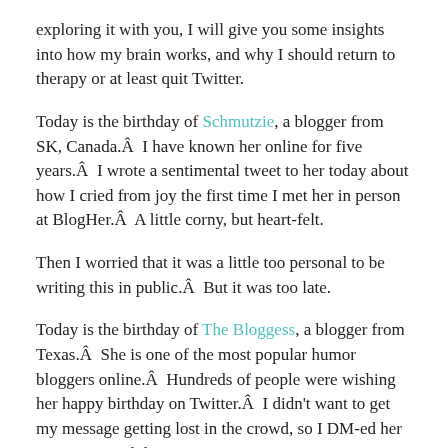exploring it with you, I will give you some insights into how my brain works, and why I should return to therapy or at least quit Twitter.
Today is the birthday of Schmutzie, a blogger from SK, Canada.Â  I have known her online for five years.Â  I wrote a sentimental tweet to her today about how I cried from joy the first time I met her in person at BlogHer.Â  A little corny, but heart-felt.
Then I worried that it was a little too personal to be writing this in public.Â  But it was too late.
Today is the birthday of The Bloggess, a blogger from Texas.Â  She is one of the most popular humor bloggers online.Â  Hundreds of people were wishing her happy birthday on Twitter.Â  I didn’t want to get my message getting lost in the crowd, so I DM-ed her a “Happy Birthday, Jenny!”